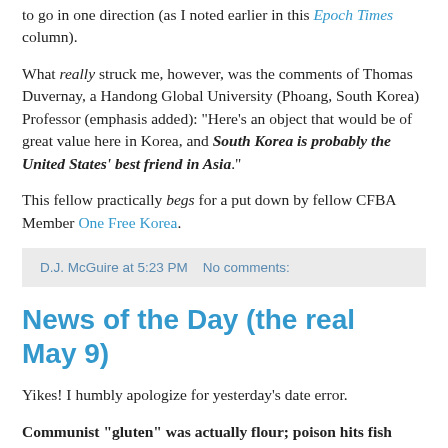to go in one direction (as I noted earlier in this Epoch Times column).
What really struck me, however, was the comments of Thomas Duvernay, a Handong Global University (Phoang, South Korea) Professor (emphasis added): "Here's an object that would be of great value here in Korea, and South Korea is probably the United States' best friend in Asia."
This fellow practically begs for a put down by fellow CFBA Member One Free Korea.
D.J. McGuire at 5:23 PM   No comments:
News of the Day (the real May 9)
Yikes! I humbly apologize for yesterday's date error.
Communist "gluten" was actually flour; poison hits fish industry: It turns out the Communist food exporters who